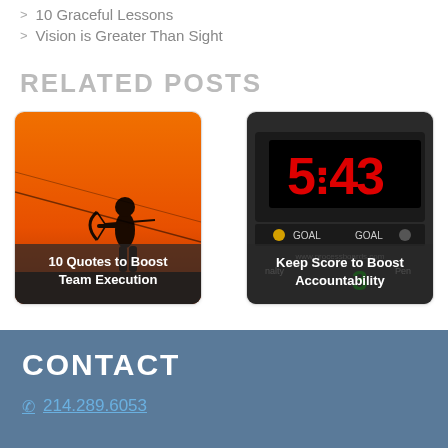10 Graceful Lessons
Vision is Greater Than Sight
RELATED POSTS
[Figure (photo): Silhouette of an archer against an orange sunset sky, with caption '10 Quotes to Boost Team Execution']
[Figure (photo): Scoreboard displaying 5:43 in red digits with GOAL indicators, with caption 'Keep Score to Boost Accountability']
CONTACT
214.289.6053